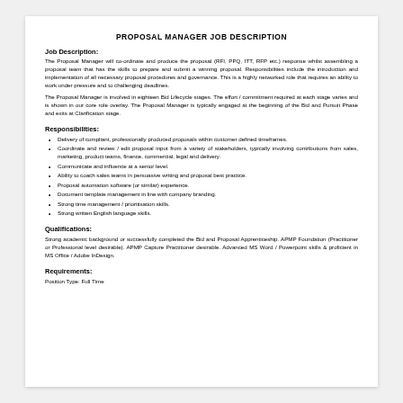PROPOSAL MANAGER JOB DESCRIPTION
Job Description:
The Proposal Manager will co-ordinate and produce the proposal (RFI, PPQ, ITT, RFP etc.) response whilst assembling a proposal team that has the skills to prepare and submit a winning proposal. Responsibilities include the introduction and implementation of all necessary proposal procedures and governance. This is a highly networked role that requires an ability to work under pressure and to challenging deadlines.
The Proposal Manager is involved in eighteen Bid Lifecycle stages. The effort / commitment required at each stage varies and is shown in our core role overlay. The Proposal Manager is typically engaged at the beginning of the Bid and Pursuit Phase and exits at Clarification stage.
Responsibilities:
Delivery of compliant, professionally produced proposals within customer defined timeframes.
Coordinate and review / edit proposal input from a variety of stakeholders, typically involving contributions from sales, marketing, product teams, finance, commercial, legal and delivery.
Communicate and influence at a senior level.
Ability to coach sales teams in persuasive writing and proposal best practice.
Proposal automation software (or similar) experience.
Document template management in line with company branding.
Strong time management / prioritisation skills.
Strong written English language skills.
Qualifications:
Strong academic background or successfully completed the Bid and Proposal Apprenticeship. APMP Foundation (Practitioner or Professional level desirable). APMP Capture Practitioner desirable. Advanced MS Word / Powerpoint skills & proficient in MS Office / Adobe InDesign.
Requirements:
Position Type: Full Time